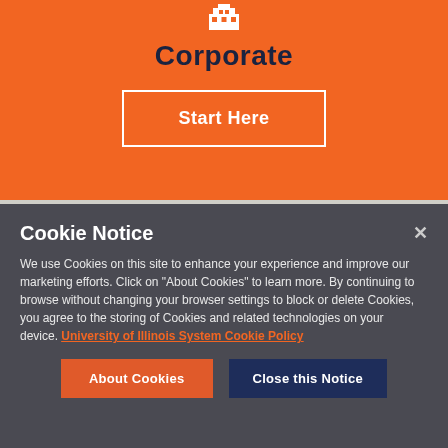[Figure (illustration): White building/corporate icon on orange background]
Corporate
Start Here
Cookie Notice
We use Cookies on this site to enhance your experience and improve our marketing efforts. Click on “About Cookies” to learn more. By continuing to browse without changing your browser settings to block or delete Cookies, you agree to the storing of Cookies and related technologies on your device. University of Illinois System Cookie Policy
About Cookies
Close this Notice